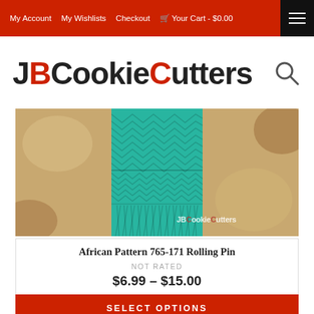My Account  My Wishlists  Checkout  Your Cart - $0.00
JBCookieCutters
[Figure (photo): Photo of an African pattern rolling pin with teal/turquoise color, showing geometric zigzag and chevron embossed texture pattern, resting on a surface. Watermark reads JBCookieCutters in bottom right.]
African Pattern 765-171 Rolling Pin
NOT RATED
$6.99 - $15.00
SELECT OPTIONS